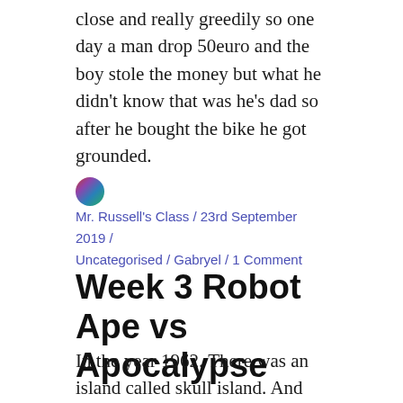close and really greedily so one day a man drop 50euro and the boy stole the money but what he didn't know that was he's dad so after he bought the bike he got grounded.
Mr. Russell's Class / 23rd September 2019 / Uncategorised / Gabryel / 1 Comment
Week 3 Robot Ape vs Apocalypse
In the year 1962. There was an island called skull island. And another island called monster land. On skull island there was a giant ape called Robot Ape. And on Monster land there